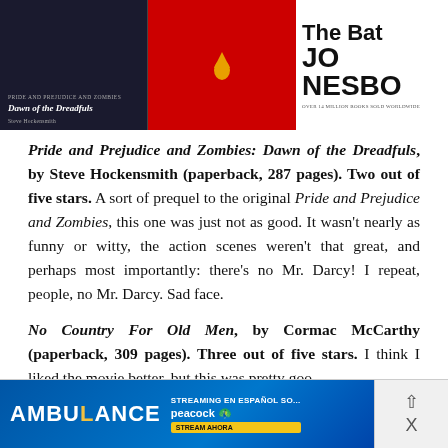[Figure (photo): Three book covers side by side: left is 'Pride and Prejudice and Zombies: Dawn of the Dreadfuls' dark cover, middle is a red cover with a drop, right is 'The Bat' by Jo Nesbo white cover.]
Pride and Prejudice and Zombies: Dawn of the Dreadfuls, by Steve Hockensmith (paperback, 287 pages). Two out of five stars. A sort of prequel to the original Pride and Prejudice and Zombies, this one was just not as good. It wasn't nearly as funny or witty, the action scenes weren't that great, and perhaps most importantly: there's no Mr. Darcy! I repeat, people, no Mr. Darcy. Sad face.
No Country For Old Men, by Cormac McCarthy (paperback, 309 pages). Three out of five stars. I think I liked the movie better, but this was pretty goo...
[Figure (screenshot): Advertisement banner for AMBULANCE streaming en español on Peacock with 'STREAM AHORA' button.]